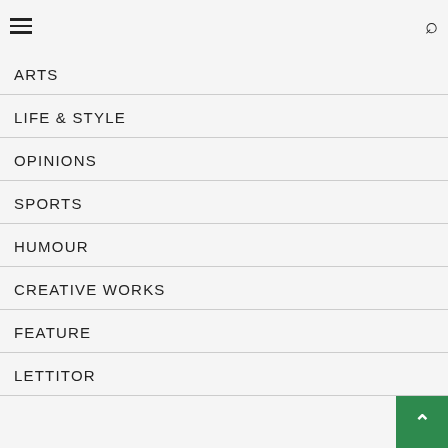Navigation menu with hamburger icon and search icon
ARTS
LIFE & STYLE
OPINIONS
SPORTS
HUMOUR
CREATIVE WORKS
FEATURE
LETTITOR